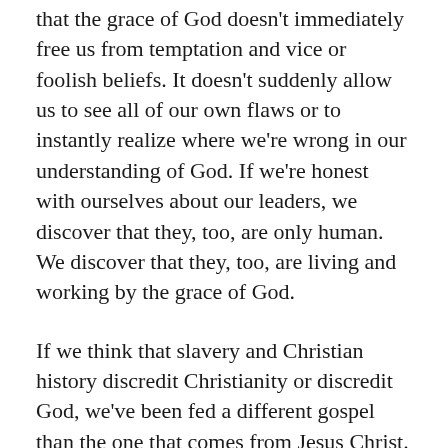that the grace of God doesn't immediately free us from temptation and vice or foolish beliefs. It doesn't suddenly allow us to see all of our own flaws or to instantly realize where we're wrong in our understanding of God. If we're honest with ourselves about our leaders, we discover that they, too, are only human. We discover that they, too, are living and working by the grace of God.
If we think that slavery and Christian history discredit Christianity or discredit God, we've been fed a different gospel than the one that comes from Jesus Christ. Christianity has never been about perfection, either in action or in understanding. Abraham or any of the patriarchs or any church leader in the history of Christianity are no different;